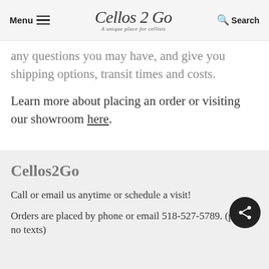Menu  Cellos 2 Go — A unique place for cellists  Search
any questions you may have, and give you shipping options, transit times and costs.
Learn more about placing an order or visiting our showroom here.
Cellos2Go
Call or email us anytime or schedule a visit!
Orders are placed by phone or email 518-527-5789. (please, no texts)